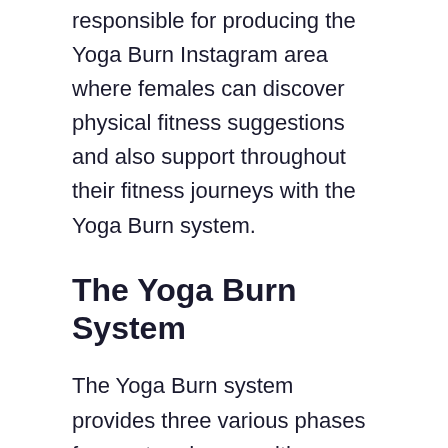responsible for producing the Yoga Burn Instagram area where females can discover physical fitness suggestions and also support throughout their fitness journeys with the Yoga Burn system.
The Yoga Burn System
The Yoga Burn system provides three various phases for you to advance with, a crucial element of dynamic sequencing Yoga. Every one has a various emphasis as well as improves the phase prior to it to completely develop your strength, maintain shedding calories, and motivate competency of the program material. You can progress from one stage to the next as soon as